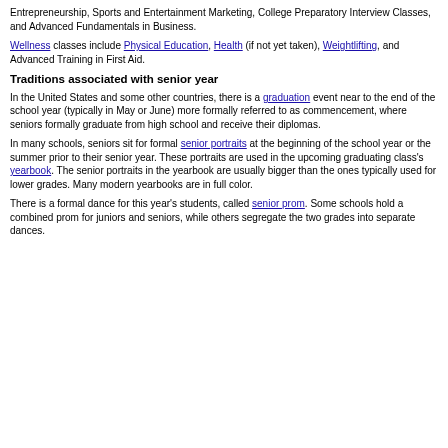Entrepreneurship, Sports and Entertainment Marketing, College Preparatory Interview Classes, and Advanced Fundamentals in Business.
Wellness classes include Physical Education, Health (if not yet taken), Weightlifting, and Advanced Training in First Aid.
Traditions associated with senior year
In the United States and some other countries, there is a graduation event near to the end of the school year (typically in May or June) more formally referred to as commencement, where seniors formally graduate from high school and receive their diplomas.
In many schools, seniors sit for formal senior portraits at the beginning of the school year or the summer prior to their senior year. These portraits are used in the upcoming graduating class's yearbook. The senior portraits in the yearbook are usually bigger than the ones typically used for lower grades. Many modern yearbooks are in full color.
There is a formal dance for this year's students, called senior prom. Some schools hold a combined prom for juniors and seniors, while others segregate the two grades into separate dances.